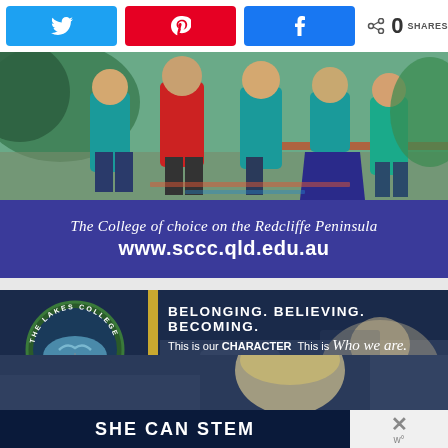[Figure (screenshot): Social media share buttons: Twitter (blue), Pinterest (red), Facebook (blue), with share count showing 0 SHARES]
[Figure (photo): Children in school uniforms (teal and red blazers) walking outdoors]
[Figure (infographic): Suncoast Christian College purple banner with tagline 'The College of choice on the Redcliffe Peninsula' and website www.sccc.qld.edu.au]
[Figure (infographic): The Lakes College advertisement on dark blue background with gold bar accent, college crest/logo on left, text 'BELONGING. BELIEVING. BECOMING. This is our CHARACTER This is Who we are.']
[Figure (infographic): Bottom strip: 'SHE CAN STEM' text on dark navy background, with close button showing X symbol on right side]